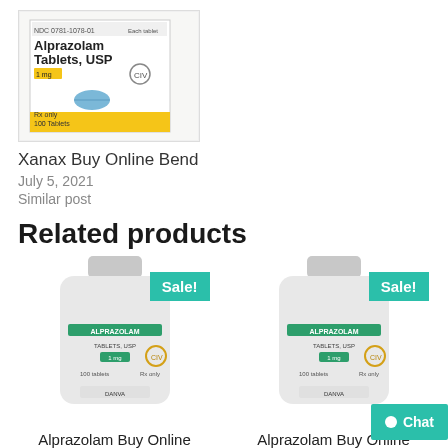[Figure (photo): Alprazolam Tablets USP 1mg box with a blue tablet]
Xanax Buy Online Bend
July 5, 2021
Similar post
Related products
[Figure (photo): Alprazolam Tablets USP bottle with Sale! badge]
[Figure (photo): Alprazolam Tablets USP bottle with Sale! badge]
Alprazolam Buy Online Maryland
Alprazolam Buy Online Michigan